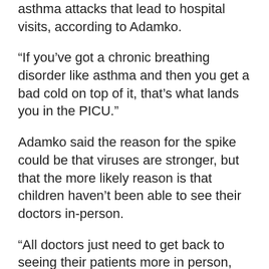asthma attacks that lead to hospital visits, according to Adamko.
“If you’ve got a chronic breathing disorder like asthma and then you get a bad cold on top of it, that’s what lands you in the PICU.”
Adamko said the reason for the spike could be that viruses are stronger, but that the more likely reason is that children haven’t been able to see their doctors in-person.
“All doctors just need to get back to seeing their patients more in person, and I think this will really help us in terms of all these hospitalizations that we’re seeing in terms of probably what’s asthma and other chronic airway problems that we just need to see in-